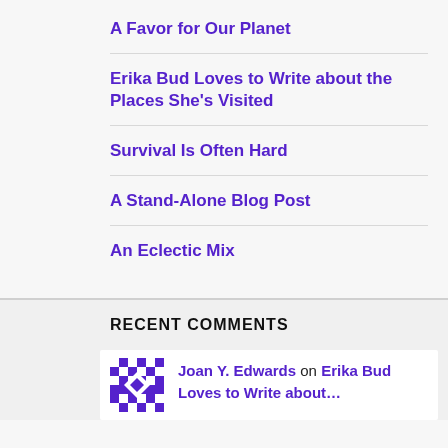A Favor for Our Planet
Erika Bud Loves to Write about the Places She's Visited
Survival Is Often Hard
A Stand-Alone Blog Post
An Eclectic Mix
RECENT COMMENTS
Joan Y. Edwards on Erika Bud Loves to Write about...